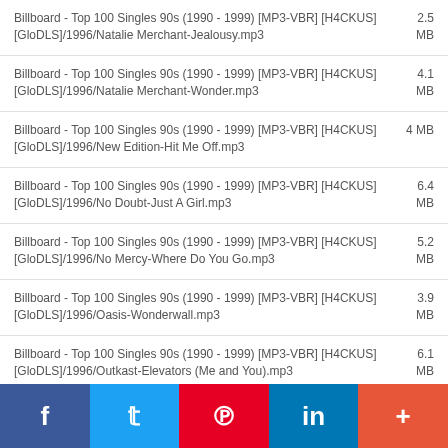Billboard - Top 100 Singles 90s (1990 - 1999) [MP3-VBR] [H4CKUS][GloDLS]/1996/Natalie Merchant-Jealousy.mp3
Billboard - Top 100 Singles 90s (1990 - 1999) [MP3-VBR] [H4CKUS][GloDLS]/1996/Natalie Merchant-Wonder.mp3
Billboard - Top 100 Singles 90s (1990 - 1999) [MP3-VBR] [H4CKUS][GloDLS]/1996/New Edition-Hit Me Off.mp3
Billboard - Top 100 Singles 90s (1990 - 1999) [MP3-VBR] [H4CKUS][GloDLS]/1996/No Doubt-Just A Girl.mp3
Billboard - Top 100 Singles 90s (1990 - 1999) [MP3-VBR] [H4CKUS][GloDLS]/1996/No Mercy-Where Do You Go.mp3
Billboard - Top 100 Singles 90s (1990 - 1999) [MP3-VBR] [H4CKUS][GloDLS]/1996/Oasis-Wonderwall.mp3
Billboard - Top 100 Singles 90s (1990 - 1999) [MP3-VBR] [H4CKUS][GloDLS]/1996/Outkast-Elevators (Me and You).mp3